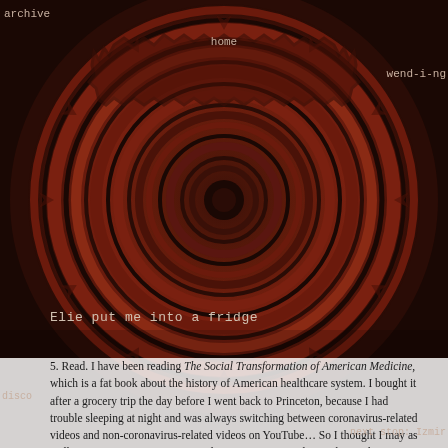archive
home
wend-i-ng
[Figure (illustration): A dark red and maroon mandala/kaleidoscope pattern filling the upper portion of the page, with concentric geometric zigzag rings radiating from a central circle.]
Elie put me into a fridge
5. Read. I have been reading The Social Transformation of American Medicine, which is a fat book about the history of American healthcare system. I bought it after a grocery trip the day before I went back to Princeton, because I had trouble sleeping at night and was always switching between coronavirus-related videos and non-coronavirus-related videos on YouTube... So I thought I may as well use my nervous energy around coronavirus to read something relevant, so I picked up this book. It is intriguing to learn how the medical profession's authority and prestige got
disco
next stop: Izmir